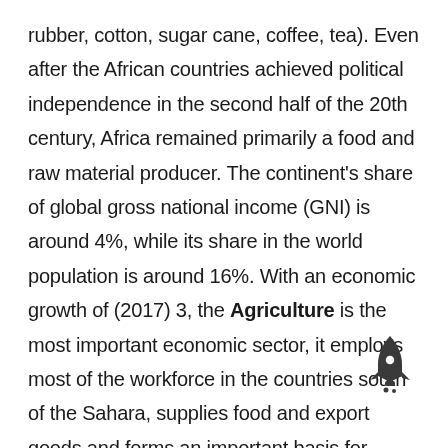rubber, cotton, sugar cane, coffee, tea). Even after the African countries achieved political independence in the second half of the 20th century, Africa remained primarily a food and raw material producer. The continent's share of global gross national income (GNI) is around 4%, while its share in the world population is around 16%. With an economic growth of (2017) 3, the Agriculture is the most important economic sector, it employs most of the workforce in the countries south of the Sahara, supplies food and export goods and forms an important basis for economic development. The production of agricultural products is increasing due to the expansion of cultivated areas, improvement of production methods, intensification of cultivation methods
[Figure (illustration): Rocket icon in dark gray/charcoal color, positioned in the lower right area of the text block]